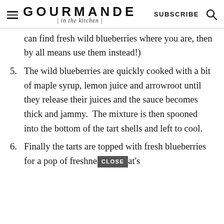GOURMANDE | in the kitchen | SUBSCRIBE
can find fresh wild blueberries where you are, then by all means use them instead!)
5. The wild blueberries are quickly cooked with a bit of maple syrup, lemon juice and arrowroot until they release their juices and the sauce becomes thick and jammy.  The mixture is then spooned into the bottom of the tart shells and left to cool.
6. Finally the tarts are topped with fresh blueberries for a pop of freshne... [CLOSE] at's